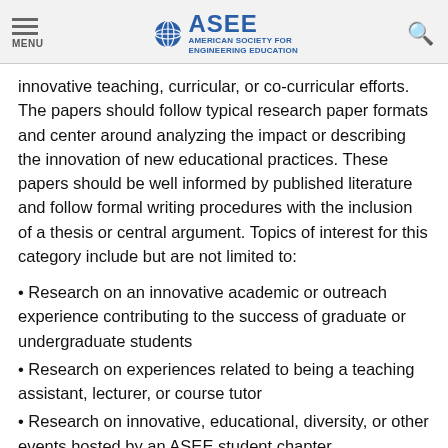MENU | ASEE AMERICAN SOCIETY FOR ENGINEERING EDUCATION
innovative teaching, curricular, or co-curricular efforts. The papers should follow typical research paper formats and center around analyzing the impact or describing the innovation of new educational practices. These papers should be well informed by published literature and follow formal writing procedures with the inclusion of a thesis or central argument. Topics of interest for this category include but are not limited to:
Research on an innovative academic or outreach experience contributing to the success of graduate or undergraduate students
Research on experiences related to being a teaching assistant, lecturer, or course tutor
Research on innovative, educational, diversity, or other events hosted by an ASEE student chapter